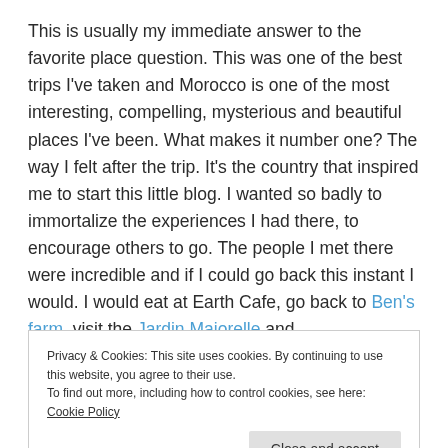This is usually my immediate answer to the favorite place question. This was one of the best trips I've taken and Morocco is one of the most interesting, compelling, mysterious and beautiful places I've been. What makes it number one? The way I felt after the trip. It's the country that inspired me to start this little blog. I wanted so badly to immortalize the experiences I had there, to encourage others to go. The people I met there were incredible and if I could go back this instant I would. I would eat at Earth Cafe, go back to Ben's farm, visit the Jardin Majorelle and
Privacy & Cookies: This site uses cookies. By continuing to use this website, you agree to their use.
To find out more, including how to control cookies, see here: Cookie Policy
Close and accept